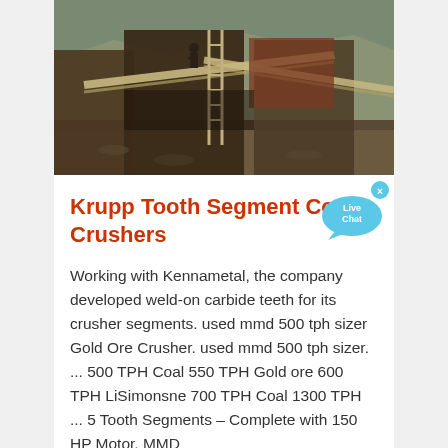[Figure (photo): Outdoor industrial scene showing heavy mining/crushing equipment with conveyor belts, ladders, and workers at a mine or quarry site. Rocky hillside visible in background.]
Krupp Tooth Segment Coal Crushers
Working with Kennametal, the company developed weld-on carbide teeth for its crusher segments. used mmd 500 tph sizer Gold Ore Crusher. used mmd 500 tph sizer. ... 500 TPH Coal 550 TPH Gold ore 600 TPH LiSimonsne 700 TPH Coal 1300 TPH ... 5 Tooth Segments – Complete with 150 HP Motor. MMD